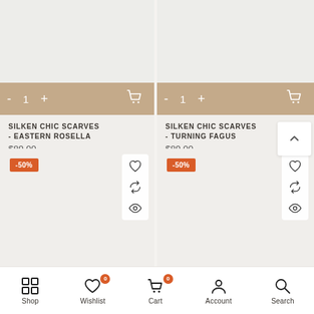[Figure (screenshot): Product card for Silken Chic Scarves - Eastern Rosella showing add to cart bar with quantity controls]
SILKEN CHIC SCARVES - EASTERN ROSELLA
$89.00
[Figure (screenshot): Product card for Silken Chic Scarves - Turning Fagus showing add to cart bar with quantity controls]
SILKEN CHIC SCARVES - TURNING FAGUS
$89.00
[Figure (screenshot): Product card with -50% badge and wishlist/compare/view icons and brand logo]
[Figure (screenshot): Product card with -50% badge and wishlist/compare/view icons and brand logo]
Shop  Wishlist 0  Cart 0  Account  Search